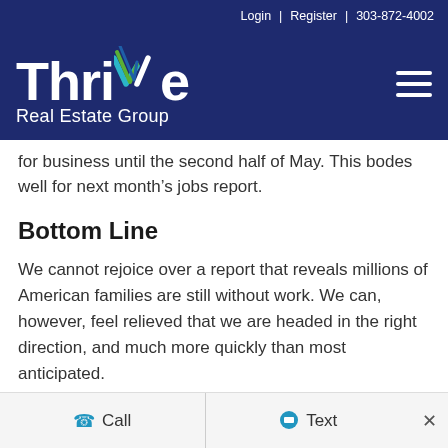Login | Register | 303-872-4002
[Figure (logo): Thrive Real Estate Group logo — white text on dark navy background with a stylized checkmark V in teal/green/blue]
for business until the second half of May. This bodes well for next month's jobs report.
Bottom Line
We cannot rejoice over a report that reveals millions of American families are still without work. We can, however, feel relieved that we are headed in the right direction, and much more quickly than most anticipated.
Call  |  Text  ×